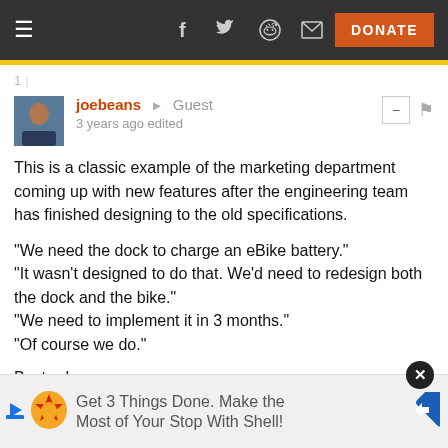≡  f  🐦  👽  ✉  DONATE
joebeans → Guest
3 years ago edited
This is a classic example of the marketing department coming up with new features after the engineering team has finished designing to the old specifications.

"We need the dock to charge an eBike battery."
"It wasn't designed to do that. We'd need to redesign both the dock and the bike."
"We need to implement it in 3 months."
"Of course we do."

Bastards.

Also, I'mma bet hard money that the engineering team expli... s of:
"will ... olutely
not
[Figure (screenshot): Ad overlay: Get 3 Things Done. Make the Most of Your Stop With Shell! with Shell logo and navigation arrow icon, and a close button.]